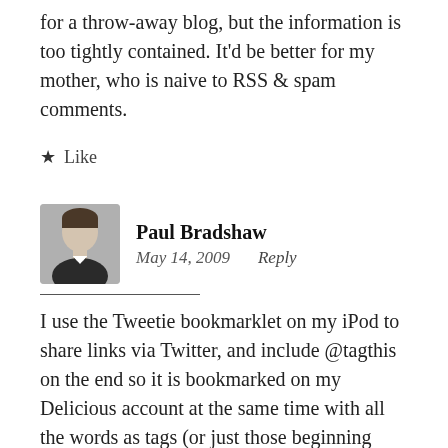for a throw-away blog, but the information is too tightly contained. It'd be better for my mother, who is naive to RSS & spam comments.
★ Like
Paul Bradshaw
May 14, 2009   Reply
I use the Tweetie bookmarklet on my iPod to share links via Twitter, and include @tagthis on the end so it is bookmarked on my Delicious account at the same time with all the words as tags (or just those beginning with a #).